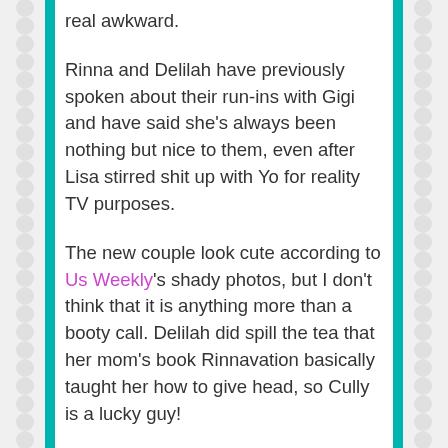real awkward.

Rinna and Delilah have previously spoken about their run-ins with Gigi and have said she's always been nothing but nice to them, even after Lisa stirred shit up with Yo for reality TV purposes.

The new couple look cute according to Us Weekly's shady photos, but I don't think that it is anything more than a booty call. Delilah did spill the tea that her mom's book Rinnavation basically taught her how to give head, so Cully is a lucky guy!